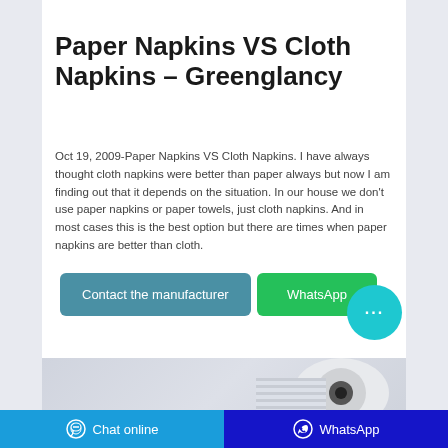[Figure (photo): Partial view of white folded napkins at the top of the page]
Paper Napkins VS Cloth Napkins – Greenglancy
Oct 19, 2009-Paper Napkins VS Cloth Napkins. I have always thought cloth napkins were better than paper always but now I am finding out that it depends on the situation. In our house we don't use paper napkins or paper towels, just cloth napkins. And in most cases this is the best option but there are times when paper napkins are better than cloth.
[Figure (screenshot): Contact the manufacturer and WhatsApp buttons with a teal chat bubble icon]
[Figure (photo): Bottom portion showing a roll of paper/tissue product]
Chat online | WhatsApp